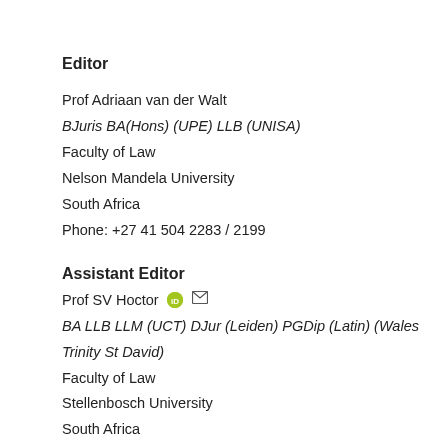Editor
Prof Adriaan van der Walt
BJuris BA(Hons) (UPE) LLB (UNISA)
Faculty of Law
Nelson Mandela University
South Africa
Phone: +27 41 504 2283 / 2199
Assistant Editor
Prof SV Hoctor
BA LLB LLM (UCT) DJur (Leiden) PGDip (Latin) (Wales Trinity St David)
Faculty of Law
Stellenbosch University
South Africa